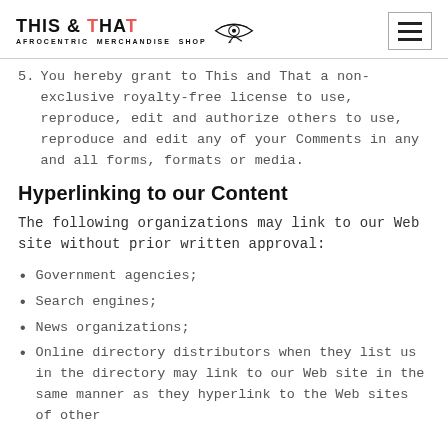THIS & THAT AFROCENTRIC MERCHANDISE SHOP [logo with Eye of Ra]
5. You hereby grant to This and That a non-exclusive royalty-free license to use, reproduce, edit and authorize others to use, reproduce and edit any of your Comments in any and all forms, formats or media.
Hyperlinking to our Content
The following organizations may link to our Web site without prior written approval:
Government agencies;
Search engines;
News organizations;
Online directory distributors when they list us in the directory may link to our Web site in the same manner as they hyperlink to the Web sites of other